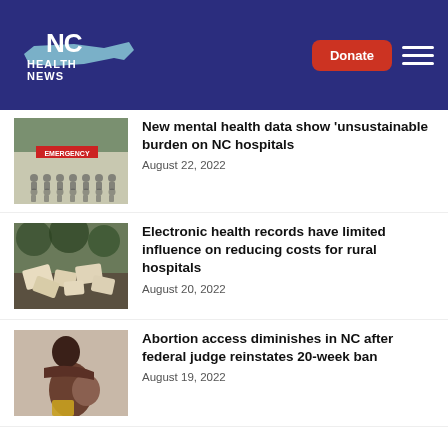[Figure (logo): NC Health News logo on dark blue background with Donate button and hamburger menu]
[Figure (photo): Hospital emergency entrance sign with people silhouettes]
New mental health data show 'unsustainable burden on NC hospitals
August 22, 2022
[Figure (photo): Scattered papers and folders on ground outdoors]
Electronic health records have limited influence on reducing costs for rural hospitals
August 20, 2022
[Figure (photo): Pregnant woman from behind]
Abortion access diminishes in NC after federal judge reinstates 20-week ban
August 19, 2022